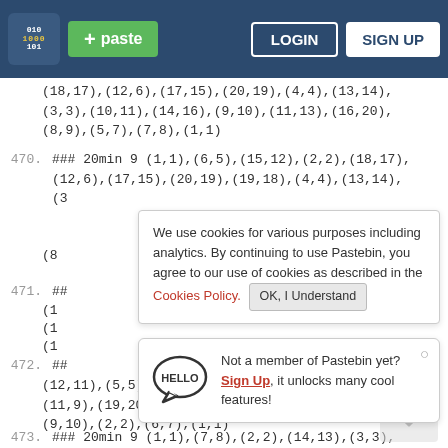paste  LOGIN  SIGN UP
(18,17),(12,6),(17,15),(20,19),(4,4),(13,14),
(3,3),(10,11),(14,16),(9,10),(11,13),(16,20),
(8,9),(5,7),(7,8),(1,1)
470. ### 20min 9 (1,1),(6,5),(15,12),(2,2),(18,17),(12,6),(17,15),(20,19),(19,18),(4,4),(13,14),(3
We use cookies for various purposes including analytics. By continuing to use Pastebin, you agree to our use of cookies as described in the Cookies Policy. OK, I Understand
471. ##
(1
(1
(1
Not a member of Pastebin yet?
Sign Up, it unlocks many cool features!
472. ##
(12,11),(5,5),(18,19),(16,16),(13,12),(14,14),
(11,9),(19,20),(15,17),(8,13),(17,18),(3,3),
(9,10),(2,2),(6,7),(1,1)
473. ### 20min 9 (1,1),(7,8),(2,2),(14,13),(3,3),
(17,16),(16,11),(11,6),(20,20),(18,17),(5,5)